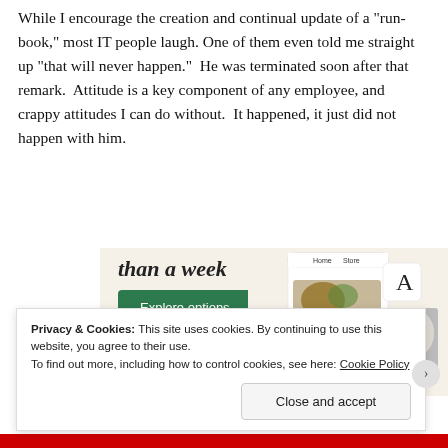While I encourage the creation and continual update of a “run-book,” most IT people laugh. One of them even told me straight up “that will never happen.”  He was terminated soon after that remark.  Attitude is a key component of any employee, and crappy attitudes I can do without.  It happened, it just did not happen with him.
[Figure (screenshot): Advertisement banner showing 'than a week' text in bold italic, a green 'Explore options' button, and mockup screenshots of a food/recipe website with images of meals and a logo letter A.]
Privacy & Cookies: This site uses cookies. By continuing to use this website, you agree to their use.
To find out more, including how to control cookies, see here: Cookie Policy
Close and accept